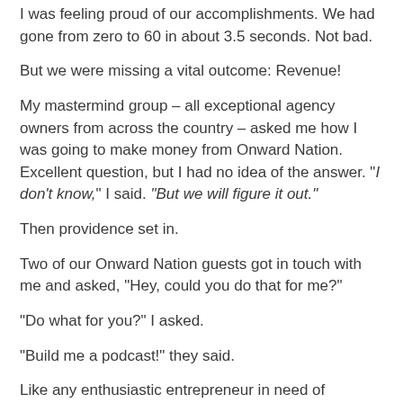I was feeling proud of our accomplishments. We had gone from zero to 60 in about 3.5 seconds. Not bad.
But we were missing a vital outcome: Revenue!
My mastermind group – all exceptional agency owners from across the country – asked me how I was going to make money from Onward Nation. Excellent question, but I had no idea of the answer. "I don't know," I said. "But we will figure it out."
Then providence set in.
Two of our Onward Nation guests got in touch with me and asked, "Hey, could you do that for me?"
"Do what for you?" I asked.
"Build me a podcast!" they said.
Like any enthusiastic entrepreneur in need of revenue, I said…achem…"Yes, we can!"
So my team and I stripped out the branding and content from the Onward Nation system and replaced